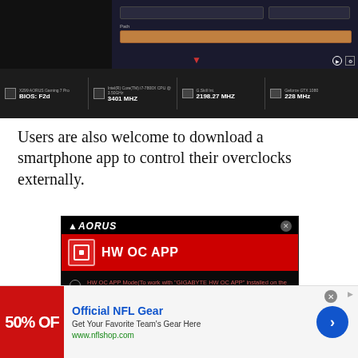[Figure (screenshot): AORUS software screenshot showing system info bar with BIOS: F2d, 3401 MHZ CPU, 2198.27 MHZ RAM, 228 MHz GPU readings]
Users are also welcome to download a smartphone app to control their overclocks externally.
[Figure (screenshot): AORUS HW OC APP settings screen showing two options: HW OC APP Mode and USB Port Mode (Normal USB Port), with USB Port Mode selected]
[Figure (screenshot): Advertisement banner for Official NFL Gear showing 50% off promotion, text: Get Your Favorite Team's Gear Here, www.nflshop.com]